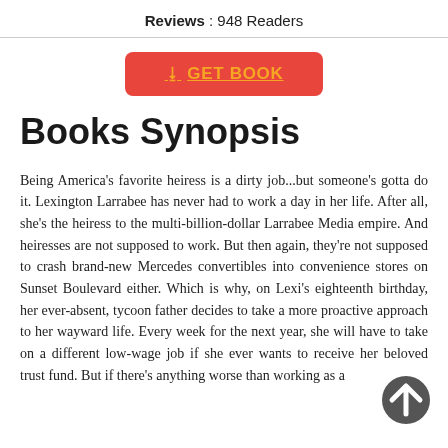Reviews : 948 Readers
[Figure (other): Red GET BOOK download button with orange icon and underlined text]
Books Synopsis
Being America's favorite heiress is a dirty job...but someone's gotta do it. Lexington Larrabee has never had to work a day in her life. After all, she's the heiress to the multi-billion-dollar Larrabee Media empire. And heiresses are not supposed to work. But then again, they're not supposed to crash brand-new Mercedes convertibles into convenience stores on Sunset Boulevard either. Which is why, on Lexi's eighteenth birthday, her ever-absent, tycoon father decides to take a more proactive approach to her wayward life. Every week for the next year, she will have to take on a different low-wage job if she ever wants to receive her beloved trust fund. But if there's anything worse than working as a